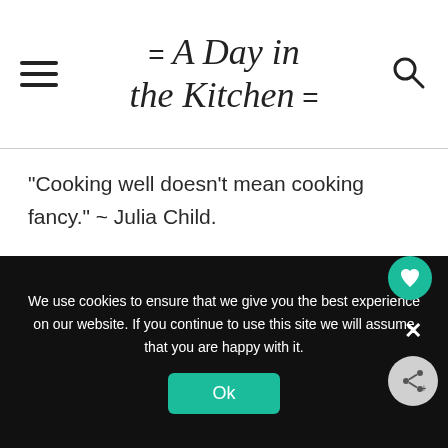= A Day in the Kitchen =
"Cooking well doesn't mean cooking fancy." ~ Julia Child.
NEVER MISS A RECIPE!
First Name
We use cookies to ensure that we give you the best experience on our website. If you continue to use this site we will assume that you are happy with it.
Ok